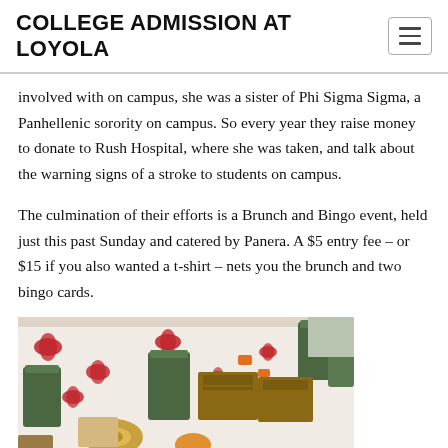COLLEGE ADMISSION AT LOYOLA
involved with on campus, she was a sister of Phi Sigma Sigma, a Panhellenic sorority on campus. So every year they raise money to donate to Rush Hospital, where she was taken, and talk about the warning signs of a stroke to students on campus.
The culmination of their efforts is a Brunch and Bingo event, held just this past Sunday and catered by Panera. A $5 entry fee – or $15 if you also wanted a t-shirt – nets you the brunch and two bingo cards.
[Figure (photo): Photo of a table set with Panera catering items including green cups, brown paper bags/boxes, bagels, and food items on a white tablecloth decorated with red ribbon/bow designs.]